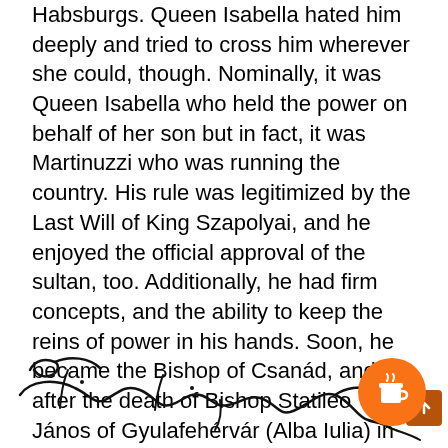Habsburgs. Queen Isabella hated him deeply and tried to cross him wherever she could, though. Nominally, it was Queen Isabella who held the power on behalf of her son but in fact, it was Martinuzzi who was running the country. His rule was legitimized by the Last Will of King Szapolyai, and he enjoyed the official approval of the sultan, too. Additionally, he had firm concepts, and the ability to keep the reins of power in his hands. Soon, he became the Bishop of Csanád, and after the death of Bishop Statileo János of Gyulafehérvár (Alba Iulia) in 1542, he took his position as well. It was the year when the Estates elected him as the Chief Captain of Transylvania but he desired more, he wanted to get the title of Governor.
[Figure (illustration): Handwritten signature reading 'Fr Georgius Barta' in cursive script, partially visible at bottom of page]